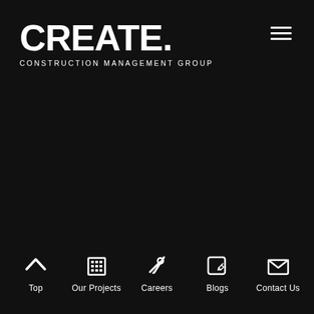[Figure (logo): CREATE. CONSTRUCTION MANAGEMENT GROUP logo in white bold text on black background, with hamburger menu icon top right]
Top | Our Projects | Careers | Blogs | Contact Us